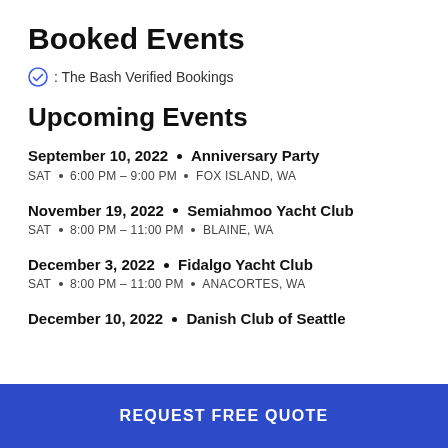Booked Events
✓: The Bash Verified Bookings
Upcoming Events
September 10, 2022 • Anniversary Party
SAT • 6:00 PM – 9:00 PM • FOX ISLAND, WA
November 19, 2022 • Semiahmoo Yacht Club
SAT • 8:00 PM – 11:00 PM • BLAINE, WA
December 3, 2022 • Fidalgo Yacht Club
SAT • 8:00 PM – 11:00 PM • ANACORTES, WA
December 10, 2022 • Danish Club of Seattle
REQUEST FREE QUOTE